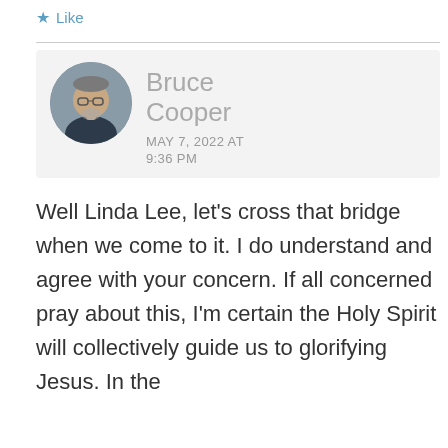★ Like
[Figure (photo): Circular avatar photo of Bruce Cooper, a middle-aged man with glasses and a gray beard wearing a dark shirt]
Bruce Cooper
MAY 7, 2022 AT
9:36 PM
Well Linda Lee, let's cross that bridge when we come to it. I do understand and agree with your concern. If all concerned pray about this, I'm certain the Holy Spirit will collectively guide us to glorifying Jesus. In the